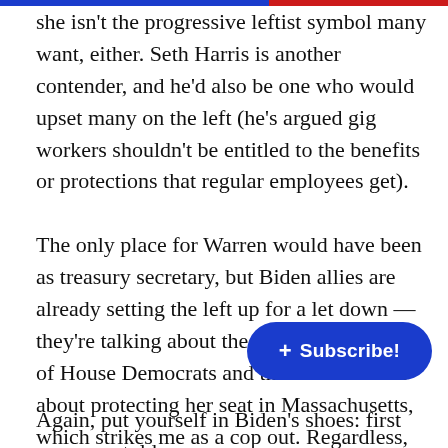she isn't the progressive leftist symbol many want, either. Seth Harris is another contender, and he'd also be one who would upset many on the left (he's argued gig workers shouldn't be entitled to the benefits or protections that regular employees get).
The only place for Warren would have been as treasury secretary, but Biden allies are already setting the left up for a let down — they're talking about the poor performance of House Democrats and the real concerns about protecting her seat in Massachusetts, which strikes me as a cop out. Regardless, the former chair of the Federal Reserve Janet Yellen, or Lael Brainard, who served as a senior Treasury Department official in the Obama administration likely.
[Figure (other): A blue Subscribe! button with a plus icon overlaid on the text]
Again, put yourself in Biden's shoes: first you were told